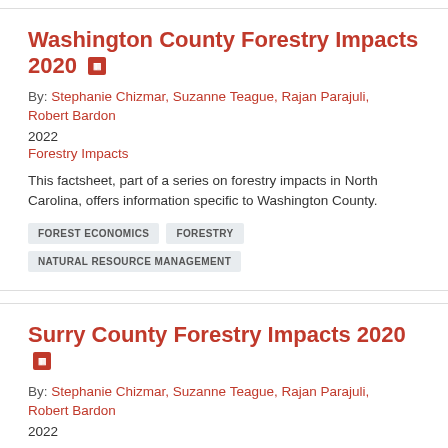Washington County Forestry Impacts 2020
By: Stephanie Chizmar, Suzanne Teague, Rajan Parajuli, Robert Bardon
2022
Forestry Impacts
This factsheet, part of a series on forestry impacts in North Carolina, offers information specific to Washington County.
FOREST ECONOMICS
FORESTRY
NATURAL RESOURCE MANAGEMENT
Surry County Forestry Impacts 2020
By: Stephanie Chizmar, Suzanne Teague, Rajan Parajuli, Robert Bardon
2022